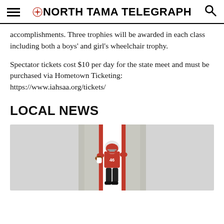North Tama Telegraph
accomplishments. Three trophies will be awarded in each class including both a boys' and girl's wheelchair trophy.
Spectator tickets cost $10 per day for the state meet and must be purchased via Hometown Ticketing: https://www.iahsaa.org/tickets/
LOCAL NEWS
[Figure (photo): Football player in red jersey number 46 running with a ball on a field, with red and white background panels]